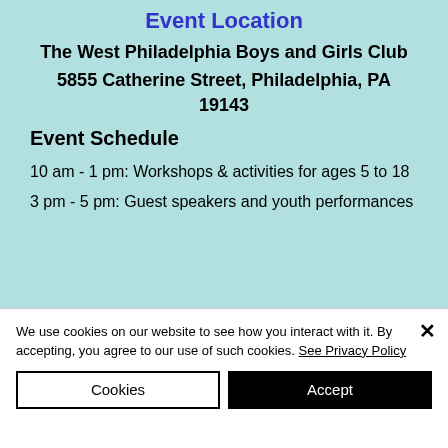Event Location
The West Philadelphia Boys and Girls Club
5855 Catherine Street, Philadelphia, PA 19143
Event Schedule
10 am - 1 pm:  Workshops & activities for ages 5 to 18
3 pm - 5 pm:  Guest speakers and youth performances
We use cookies on our website to see how you interact with it. By accepting, you agree to our use of such cookies. See Privacy Policy